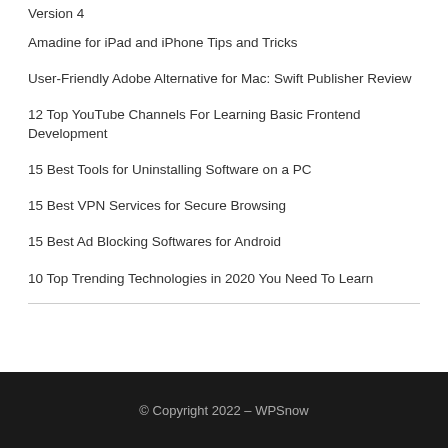Version 4
Amadine for iPad and iPhone Tips and Tricks
User-Friendly Adobe Alternative for Mac: Swift Publisher Review
12 Top YouTube Channels For Learning Basic Frontend Development
15 Best Tools for Uninstalling Software on a PC
15 Best VPN Services for Secure Browsing
15 Best Ad Blocking Softwares for Android
10 Top Trending Technologies in 2020 You Need To Learn
© Copyright 2022 – WPSnow